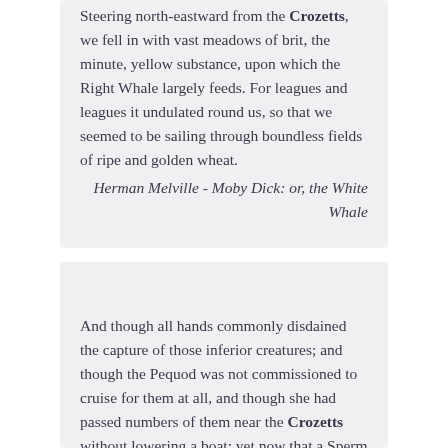Steering north-eastward from the Crozetts, we fell in with vast meadows of brit, the minute, yellow substance, upon which the Right Whale largely feeds. For leagues and leagues it undulated round us, so that we seemed to be sailing through boundless fields of ripe and golden wheat.
Herman Melville - Moby Dick: or, the White Whale
And though all hands commonly disdained the capture of those inferior creatures; and though the Pequod was not commissioned to cruise for them at all, and though she had passed numbers of them near the Crozetts without lowering a boat; yet now that a Sperm Whale had been brought